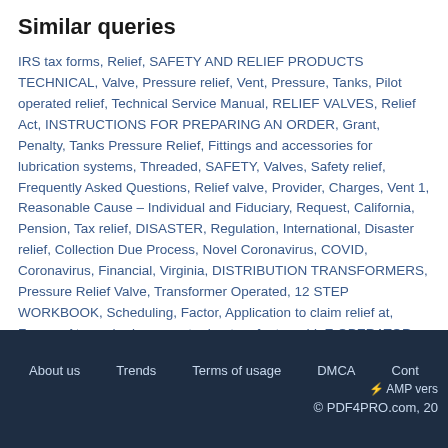Similar queries
IRS tax forms, Relief, SAFETY AND RELIEF PRODUCTS TECHNICAL, Valve, Pressure relief, Vent, Pressure, Tanks, Pilot operated relief, Technical Service Manual, RELIEF VALVES, Relief Act, INSTRUCTIONS FOR PREPARING AN ORDER, Grant, Penalty, Tanks Pressure Relief, Fittings and accessories for lubrication systems, Threaded, SAFETY, Valves, Safety relief, Frequently Asked Questions, Relief valve, Provider, Charges, Vent 1, Reasonable Cause – Individual and Fiduciary, Request, California, Pension, Tax relief, DISASTER, Regulation, International, Disaster relief, Collection Due Process, Novel Coronavirus, COVID, Coronavirus, Financial, Virginia, DISTRIBUTION TRANSFORMERS, Pressure Relief Valve, Transformer Operated, 12 STEP WORKBOOK, Scheduling, Factor, Application to claim relief at, France, Atmospheric gas water heaters feature, I L E OPERATOR, Function, FAQs, Payment Window for, Hot Water
About us   Trends   Terms of usage   DMCA   Cont… ⚡ AMP vers… © PDF4PRO.com, 20…